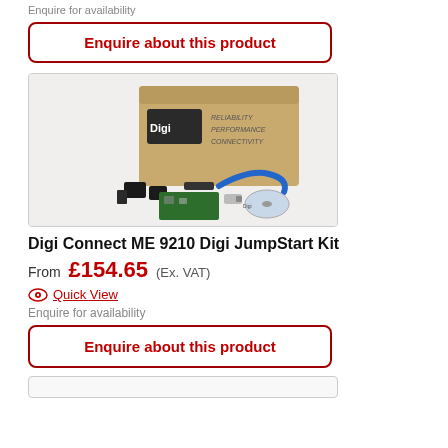Enquire for availability
Enquire about this product
[Figure (photo): Digi Connect ME 9210 JumpStart Kit product box with accessories including cables, adapters, circuit board, and CD]
Digi Connect ME 9210 Digi JumpStart Kit
From £154.65 (Ex. VAT)
Quick View
Enquire for availability
Enquire about this product